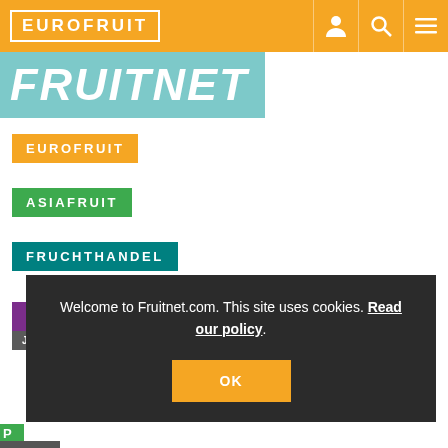EUROFRUIT
[Figure (logo): FRUITNET logo in white italic bold text on teal/cyan background strip]
EUROFRUIT
ASIAFRUIT
FRUCHTHANDEL
FRESH PRODUCE JOURNAL
Welcome to Fruitnet.com. This site uses cookies. Read our policy.
OK